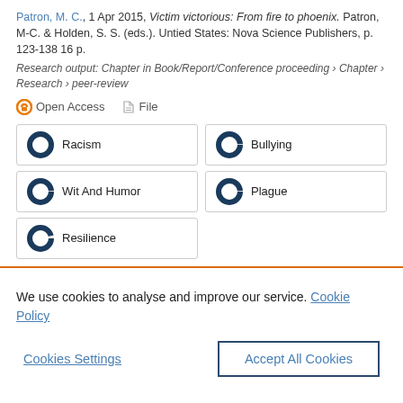Patron, M. C., 1 Apr 2015, Victim victorious: From fire to phoenix. Patron, M-C. & Holden, S. S. (eds.). Untied States: Nova Science Publishers, p. 123-138 16 p.
Research output: Chapter in Book/Report/Conference proceeding › Chapter › Research › peer-review
Open Access   File
Racism
Bullying
Wit And Humor
Plague
Resilience
We use cookies to analyse and improve our service. Cookie Policy
Cookies Settings
Accept All Cookies